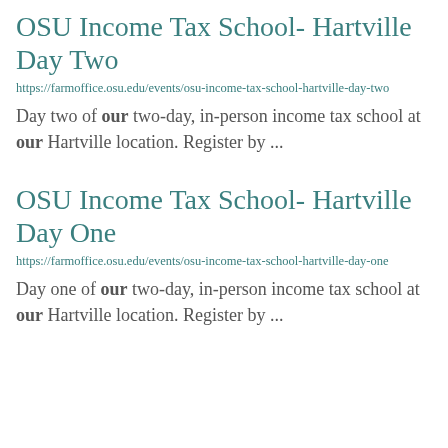OSU Income Tax School- Hartville Day Two
https://farmoffice.osu.edu/events/osu-income-tax-school-hartville-day-two
Day two of our two-day, in-person income tax school at our Hartville location. Register by ...
OSU Income Tax School- Hartville Day One
https://farmoffice.osu.edu/events/osu-income-tax-school-hartville-day-one
Day one of our two-day, in-person income tax school at our Hartville location. Register by ...